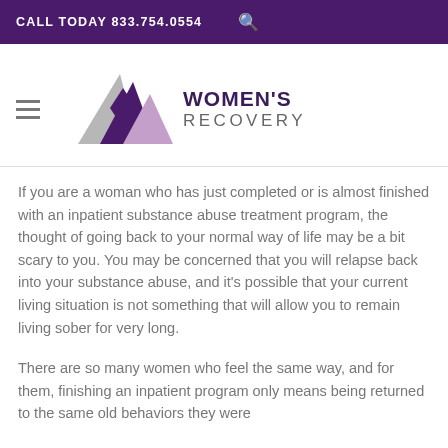CALL TODAY 833.754.0554
[Figure (logo): Women's Recovery logo with three overlapping mountain triangles in grey, dark purple, and light purple, followed by the text WOMEN'S RECOVERY]
If you are a woman who has just completed or is almost finished with an inpatient substance abuse treatment program, the thought of going back to your normal way of life may be a bit scary to you. You may be concerned that you will relapse back into your substance abuse, and it's possible that your current living situation is not something that will allow you to remain living sober for very long.
There are so many women who feel the same way, and for them, finishing an inpatient program only means being returned to the same old behaviors they were